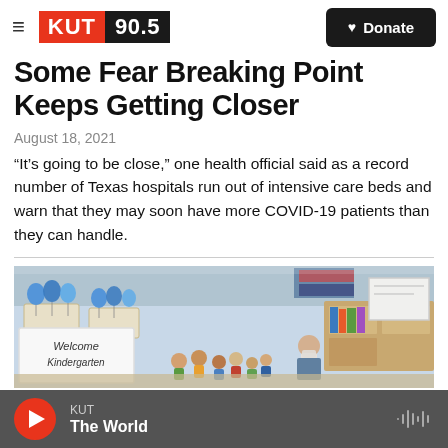KUT 90.5 | Donate
Some Fear Breaking Point Keeps Getting Closer
August 18, 2021
“It’s going to be close,” one health official said as a record number of Texas hospitals run out of intensive care beds and warn that they may soon have more COVID-19 patients than they can handle.
[Figure (photo): A kindergarten classroom with children seated on the floor, blue balloons on desks, and a 'Welcome Kindergarten' sign visible. A masked teacher is present.]
KUT | The World